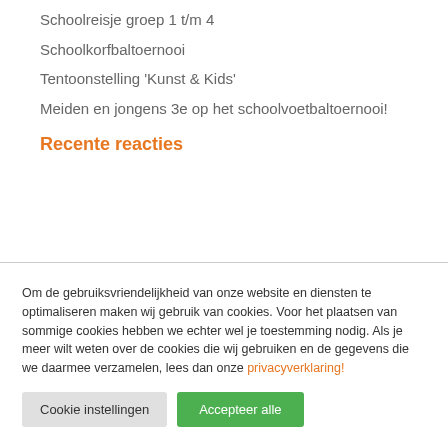Schoolreisje groep 1 t/m 4
Schoolkorfbaltoernooi
Tentoonstelling 'Kunst & Kids'
Meiden en jongens 3e op het schoolvoetbaltoernooi!
Recente reacties
Om de gebruiksvriendelijkheid van onze website en diensten te optimaliseren maken wij gebruik van cookies. Voor het plaatsen van sommige cookies hebben we echter wel je toestemming nodig. Als je meer wilt weten over de cookies die wij gebruiken en de gegevens die we daarmee verzamelen, lees dan onze privacyverklaring!